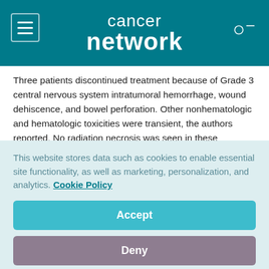cancer network
Three patients discontinued treatment because of Grade 3 central nervous system intratumoral hemorrhage, wound dehiscence, and bowel perforation. Other nonhematologic and hematologic toxicities were transient, the authors reported. No radiation necrosis was seen in these previously irradiated patients.
In another study, researchers from the NCI’s Neuro-Oncology Branch in Bethesda, Md., evaluated the single-agent activity of
This website stores data such as cookies to enable essential site functionality, as well as marketing, personalization, and analytics. Cookie Policy
Accept
Deny